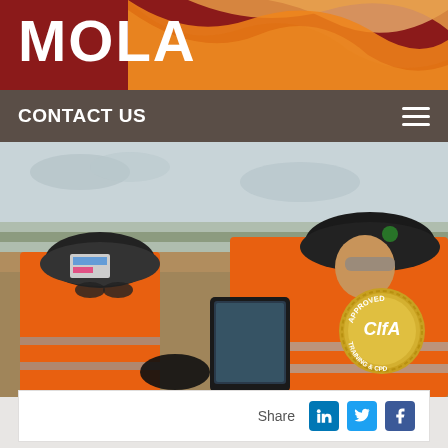[Figure (logo): MOLA logo on dark red background with orange wave design]
CONTACT US
[Figure (photo): Two workers in orange hi-vis jackets and hard hats on a construction/archaeological excavation site, looking at a tablet device. A CIfA Approved Training & CPD badge is overlaid on the bottom right.]
Share